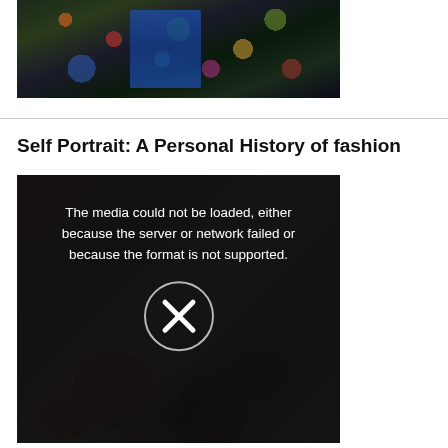[Figure (photo): Colorful folk art painting showing figures and candy-like decorations on dark background, partially cropped at top of page]
Self Portrait: A Personal History of fashion
[Figure (screenshot): Video player showing error message: 'The media could not be loaded, either because the server or network failed or because the format is not supported.' with an X button over a dark background showing folk art dolls/figures]